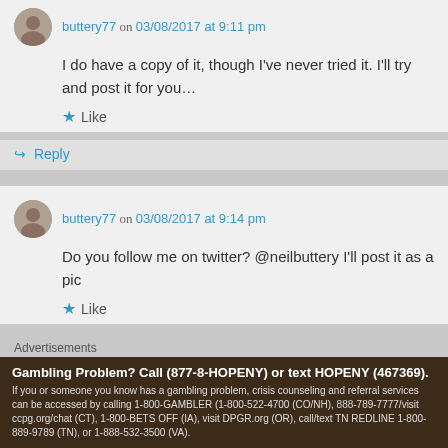buttery77 on 03/08/2017 at 9:11 pm
I do have a copy of it, though I've never tried it. I'll try and post it for you…
Like
Reply
buttery77 on 03/08/2017 at 9:14 pm
Do you follow me on twitter? @neilbuttery I'll post it as a pic
Like
Advertisements
Gambling Problem? Call (877-8-HOPENY) or text HOPENY (467369). If you or someone you know has a gambling problem, crisis counseling and referral services can be accessed by calling 1-800-GAMBLER (1-800-522-4700 (CO/NH), 888-789-7777/visit ccpg.org/chat (CT), 1-800-BETS OFF (IA), visit DPGR.org (OR), call/text TN REDLINE 1-800-889-9789 (TN), or 1-888-532-3500 (VA).